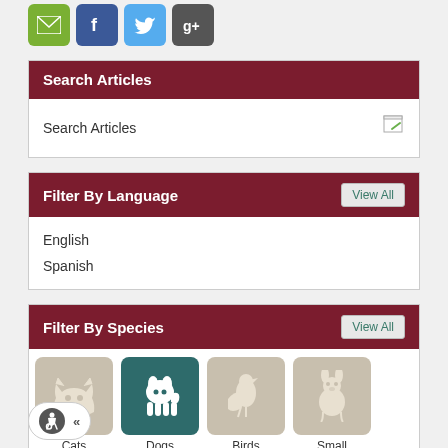[Figure (infographic): Social sharing icons: email (green), Facebook (blue), Twitter (light blue), Google+ (dark grey)]
Search Articles
Search Articles
Filter By Language
English
Spanish
Filter By Species
[Figure (infographic): Species filter tiles showing icons for Cats, Dogs (active/teal), Birds, Small Mammals]
[Figure (infographic): Accessibility widget with wheelchair icon and chevron button]